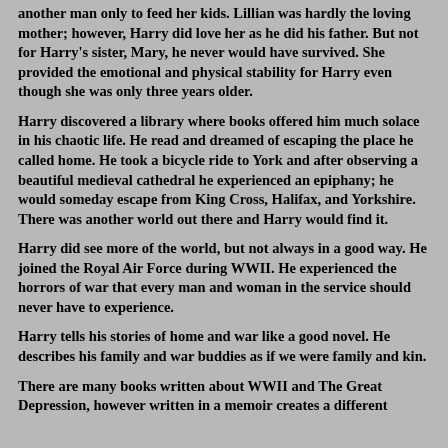another man only to feed her kids. Lillian was hardly the loving mother; however, Harry did love her as he did his father. But not for Harry's sister, Mary, he never would have survived. She provided the emotional and physical stability for Harry even though she was only three years older.
Harry discovered a library where books offered him much solace in his chaotic life. He read and dreamed of escaping the place he called home. He took a bicycle ride to York and after observing a beautiful medieval cathedral he experienced an epiphany; he would someday escape from King Cross, Halifax, and Yorkshire. There was another world out there and Harry would find it.
Harry did see more of the world, but not always in a good way. He joined the Royal Air Force during WWII. He experienced the horrors of war that every man and woman in the service should never have to experience.
Harry tells his stories of home and war like a good novel. He describes his family and war buddies as if we were family and kin.
There are many books written about WWII and The Great Depression, however written in a memoir creates a different